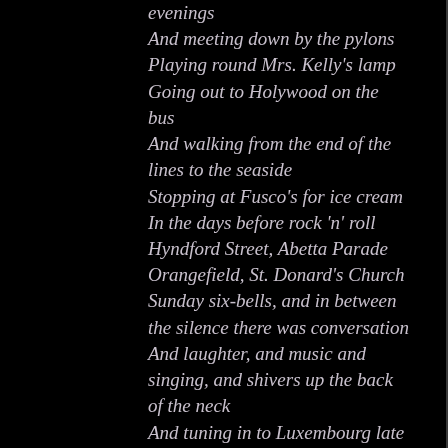evenings
And meeting down by the pylons
Playing round Mrs. Kelly’s lamp
Going out to Holywood on the bus
And walking from the end of the lines to the seaside
Stopping at Fusco’s for ice cream
In the days before rock ‘n’ roll
Hyndford Street, Abetta Parade
Orangefield, St. Donard’s Church
Sunday six-bells, and in between the silence there was conversation
And laughter, and music and singing, and shivers up the back of the neck
And tuning in to Luxembourg late